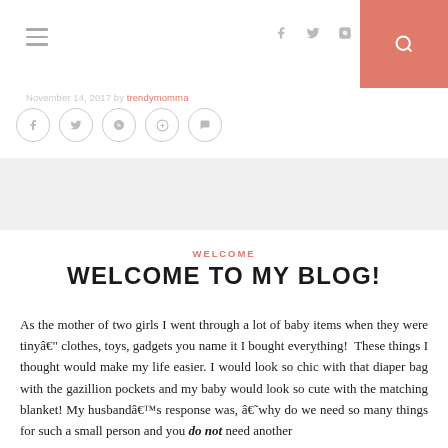Navigation header with hamburger menu, social icons (f, twitter, instagram), and search button
November 14, 2017 by trendymomma
[Figure (other): Row of circular social sharing icon buttons: facebook, twitter, pinterest, google+, comment]
[Figure (other): Gray banner/image placeholder band]
WELCOME
WELCOME TO MY BLOG!
As the mother of two girls I went through a lot of baby items when they were tinyâ€" clothes, toys, gadgets you name it I bought everything!Â  These things I thought would make my life easier. I would look so chic with that diaper bag with the gazillion pockets and my baby would look so cute with the matching blanket! My husbandâ€TMs response was, â€˜why do we need so many things for such a small person and you do not need another